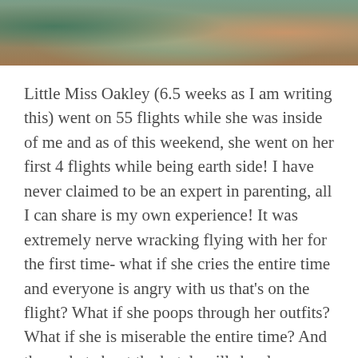[Figure (photo): Cropped photo of a person holding a baby, showing partial view of hands and clothing in warm and green tones.]
Little Miss Oakley (6.5 weeks as I am writing this) went on 55 flights while she was inside of me and as of this weekend, she went on her first 4 flights while being earth side! I have never claimed to be an expert in parenting, all I can share is my own experience! It was extremely nerve wracking flying with her for the first time- what if she cries the entire time and everyone is angry with us that's on the flight? What if she poops through her outfits? What if she is miserable the entire time? And then what about the hotel- will she sleep, are we going to ruin all of the sleep progress she has made, what is cries thee entire time and everyone at th hotels hates us? All of these, and more, anxious thoughts